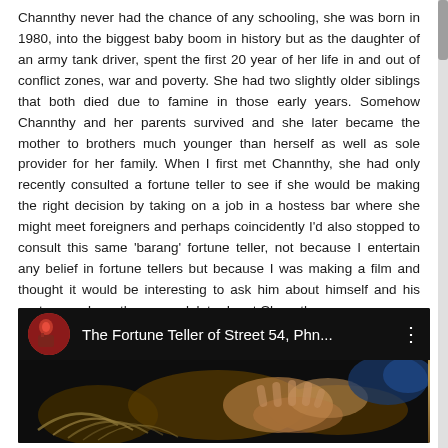Channthy never had the chance of any schooling, she was born in 1980, into the biggest baby boom in history but as the daughter of an army tank driver, spent the first 20 year of her life in and out of conflict zones, war and poverty. She had two slightly older siblings that both died due to famine in those early years. Somehow Channthy and her parents survived and she later became the mother to brothers much younger than herself as well as sole provider for her family. When I first met Channthy, she had only recently consulted a fortune teller to see if she would be making the right decision by taking on a job in a hostess bar where she might meet foreigners and perhaps coincidently I'd also stopped to consult this same 'barang' fortune teller, not because I entertain any belief in fortune tellers but because I was making a film and thought it would be interesting to ask him about himself and his customers. Less than a week later I met Channthy.
[Figure (screenshot): YouTube video thumbnail showing 'The Fortune Teller of Street 54, Phn...' with a circular thumbnail image on the left and a blurred image of hands possibly playing an instrument on a dark background.]